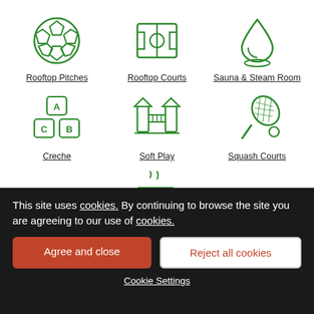[Figure (infographic): Grid of 7 green outline icons for amenities: Rooftop Pitches (soccer ball), Rooftop Courts (sports field), Sauna & Steam Room (water drop), Creche (ABC blocks), Soft Play (playground structure), Squash Courts (racket and ball), Café (coffee cup with steam)]
Rooftop Pitches
Rooftop Courts
Sauna & Steam Room
Creche
Soft Play
Squash Courts
Café
This site uses cookies. By continuing to browse the site you are agreeing to our use of cookies.
Agree and close
Reject all cookies
Cookie Settings